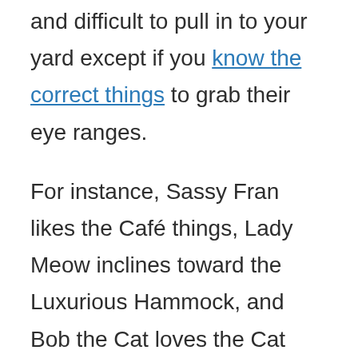and difficult to pull in to your yard except if you know the correct things to grab their eye ranges.
For instance, Sassy Fran likes the Café things, Lady Meow inclines toward the Luxurious Hammock, and Bob the Cat loves the Cat Metropolis. There are additionally a few novelty cats that are pulled in by in excess of one thing.
You should give every thing the decent